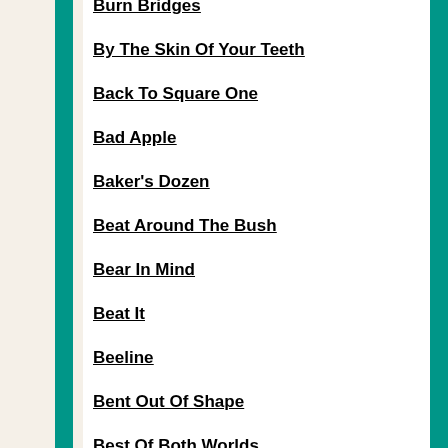Burn Bridges
By The Skin Of Your Teeth
Back To Square One
Bad Apple
Baker's Dozen
Beat Around The Bush
Bear In Mind
Beat It
Beeline
Bent Out Of Shape
Best Of Both Worlds